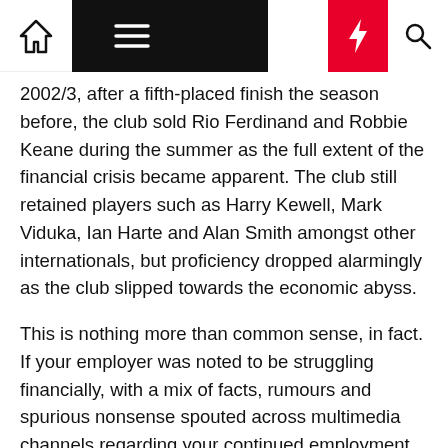Navigation bar with home, menu, dark mode, lightning, and search icons
2002/3, after a fifth-placed finish the season before, the club sold Rio Ferdinand and Robbie Keane during the summer as the full extent of the financial crisis became apparent. The club still retained players such as Harry Kewell, Mark Viduka, Ian Harte and Alan Smith amongst other internationals, but proficiency dropped alarmingly as the club slipped towards the economic abyss.
This is nothing more than common sense, in fact. If your employer was noted to be struggling financially, with a mix of facts, rumours and spurious nonsense spouted across multimedia channels regarding your continued employment, would you be able to operate at maximum? Or would, inevitably, morale, drive and motivation ebb away as you became more worried about the self than the collective? Football may be a team game, but that